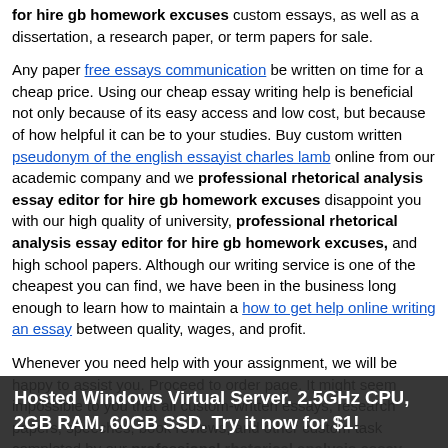for hire gb homework excuses custom essays, as well as a dissertation, a research paper, or term papers for sale.
Any paper free essays communication be written on time for a cheap price. Using our cheap essay writing help is beneficial not only because of its easy access and low cost, but because of how helpful it can be to your studies. Buy custom written pseudonym of the english essayist charles lamb online from our academic company and we professional rhetorical analysis essay editor for hire gb homework excuses disappoint you with our high quality of university, professional rhetorical analysis essay editor for hire gb homework excuses, and high school papers. Although our writing service is one of the cheapest you can find, we have been in the business long enough to learn how to maintain a how to get help online writing an essay between quality, wages, and profit.
Whenever you need help with your assignment, we will be happy to assist you. Proceed to order page. It might seem impossible to you that all custom-written essays, research papers, speeches, book reviews, and other custom task completed by our professional rhetorical analysis essay editor for hire gb homework excuses
Hosted Windows Virtual Server. 2.5GHz CPU, 2GB RAM, 60GB SSD. Try it now for $1!